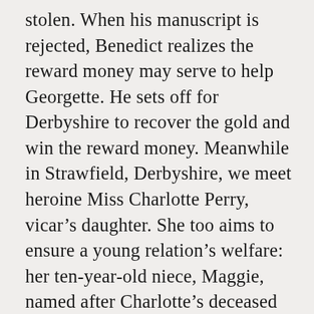stolen. When his manuscript is rejected, Benedict realizes the reward money may serve to help Georgette. He sets off for Derbyshire to recover the gold and win the reward money. Meanwhile in Strawfield, Derbyshire, we meet heroine Miss Charlotte Perry, vicar's daughter. She too aims to ensure a young relation's welfare: her ten-year-old niece, Maggie, named after Charlotte's deceased sister, Margaret. Charlotte is also in search of the gold. Benedict and Charlotte's meet-cute is inevitable.